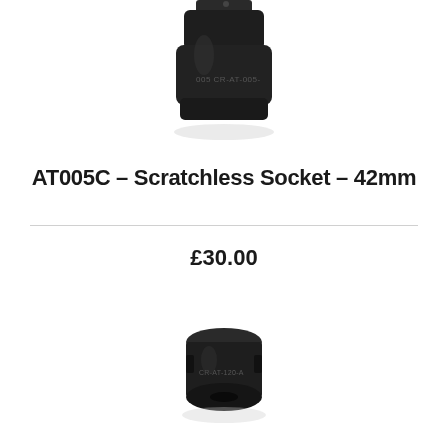[Figure (photo): Top portion of a black scratchless socket tool (42mm) with label CR-AT-005 visible on its body, photographed from above on white background]
AT005C – Scratchless Socket – 42mm
£30.00
[Figure (photo): Small black socket/collar piece with CR-AT-120-A label visible, photographed on white background]